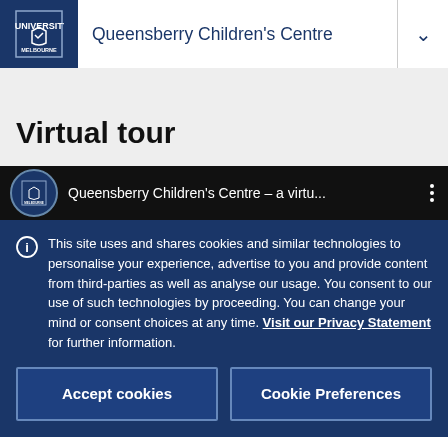Queensberry Children's Centre
Virtual tour
[Figure (screenshot): YouTube video thumbnail bar showing 'Queensberry Children's Centre – a virtu...' with University of Melbourne logo]
This site uses and shares cookies and similar technologies to personalise your experience, advertise to you and provide content from third-parties as well as analyse our usage. You consent to our use of such technologies by proceeding. You can change your mind or consent choices at any time. Visit our Privacy Statement for further information.
Accept cookies
Cookie Preferences